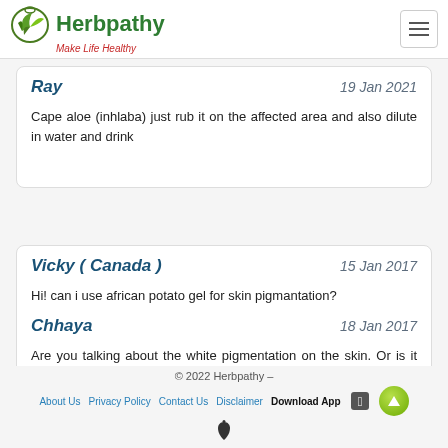Herbpathy – Make Life Healthy
Ray   19 Jan 2021

Cape aloe (inhlaba) just rub it on the affected area and also dilute in water and drink
Vicky ( Canada )   15 Jan 2017

Hi! can i use african potato gel for skin pigmantation?

Chhaya   18 Jan 2017

Are you talking about the white pigmentation on the skin. Or is it hyperpigmentation ?
© 2022 Herbpathy –
About Us  Privacy Policy  Contact Us  Disclaimer  Download App